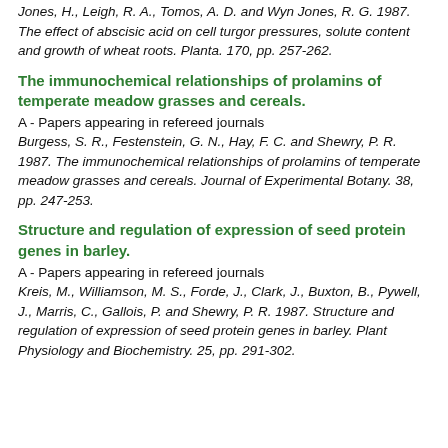Jones, H., Leigh, R. A., Tomos, A. D. and Wyn Jones, R. G. 1987. The effect of abscisic acid on cell turgor pressures, solute content and growth of wheat roots. Planta. 170, pp. 257-262.
The immunochemical relationships of prolamins of temperate meadow grasses and cereals.
A - Papers appearing in refereed journals
Burgess, S. R., Festenstein, G. N., Hay, F. C. and Shewry, P. R. 1987. The immunochemical relationships of prolamins of temperate meadow grasses and cereals. Journal of Experimental Botany. 38, pp. 247-253.
Structure and regulation of expression of seed protein genes in barley.
A - Papers appearing in refereed journals
Kreis, M., Williamson, M. S., Forde, J., Clark, J., Buxton, B., Pywell, J., Marris, C., Gallois, P. and Shewry, P. R. 1987. Structure and regulation of expression of seed protein genes in barley. Plant Physiology and Biochemistry. 25, pp. 291-302.